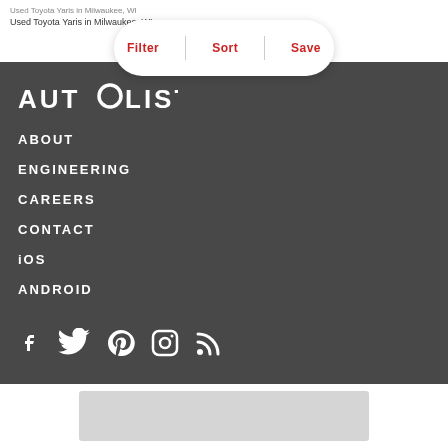Used Toyota Yaris in Milwaukee, WI
Filter  Sort  Save
[Figure (logo): AUTOLIST logo in white text on dark background]
ABOUT
ENGINEERING
CAREERS
CONTACT
iOS
ANDROID
[Figure (illustration): Social media icons: Facebook, Twitter, Pinterest, Instagram, RSS]